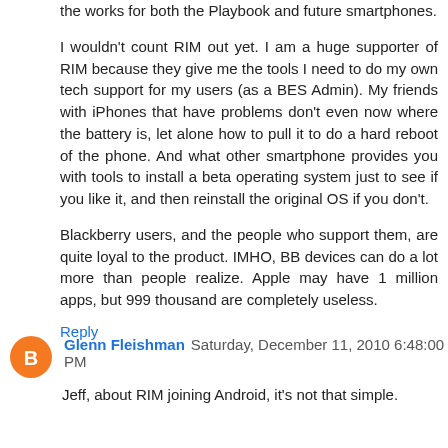the works for both the Playbook and future smartphones.
I wouldn't count RIM out yet. I am a huge supporter of RIM because they give me the tools I need to do my own tech support for my users (as a BES Admin). My friends with iPhones that have problems don't even now where the battery is, let alone how to pull it to do a hard reboot of the phone. And what other smartphone provides you with tools to install a beta operating system just to see if you like it, and then reinstall the original OS if you don't.
Blackberry users, and the people who support them, are quite loyal to the product. IMHO, BB devices can do a lot more than people realize. Apple may have 1 million apps, but 999 thousand are completely useless.
Reply
Glenn Fleishman  Saturday, December 11, 2010 6:48:00 PM
Jeff, about RIM joining Android, it's not that simple.